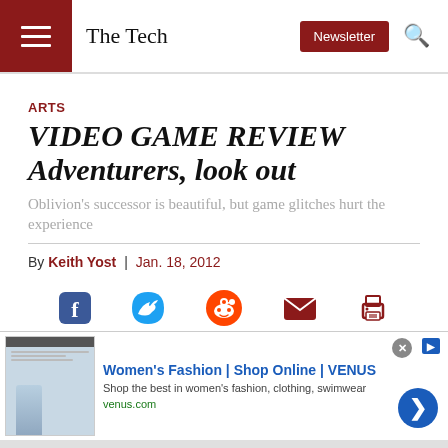The Tech
ARTS
VIDEO GAME REVIEW Adventurers, look out
Oblivion's successor is beautiful, but game glitches hurt the experience
By Keith Yost | Jan. 18, 2012
[Figure (infographic): Social sharing icons row: Facebook, Twitter, Reddit, Email, Print]
[Figure (infographic): Advertisement banner: Women's Fashion | Shop Online | VENUS - Shop the best in women's fashion, clothing, swimwear - venus.com]